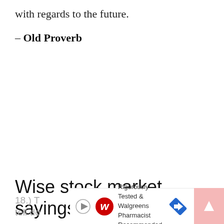with regards to the future.
– Old Proverb
Wise stock market sayings
18.) T… tell do…
[Figure (other): Walgreens advertisement banner: Rigorously Tested & Walgreens Pharmacist Recommended]